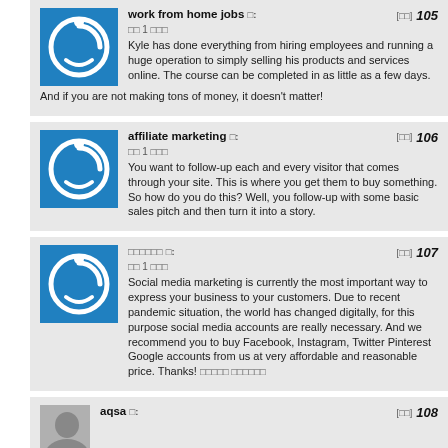work from home jobs [garbled]: [icon] 105
[garbled] 1 [garbled]
Kyle has done everything from hiring employees and running a huge operation to simply selling his products and services online. The course can be completed in as little as a few days. And if you are not making tons of money, it doesn't matter!
affiliate marketing [garbled]: [icon] 106
[garbled] 1 [garbled]
You want to follow-up each and every visitor that comes through your site. This is where you get them to buy something. So how do you do this? Well, you follow-up with some basic sales pitch and then turn it into a story.
[garbled] [garbled]: [icon] 107
[garbled] 1 [garbled]
Social media marketing is currently the most important way to express your business to your customers. Due to recent pandemic situation, the world has changed digitally, for this purpose social media accounts are really necessary. And we recommend you to buy Facebook, Instagram, Twitter Pinterest Google accounts from us at very affordable and reasonable price. Thanks! [garbled] [garbled]
aqsa [garbled]: [icon] 108